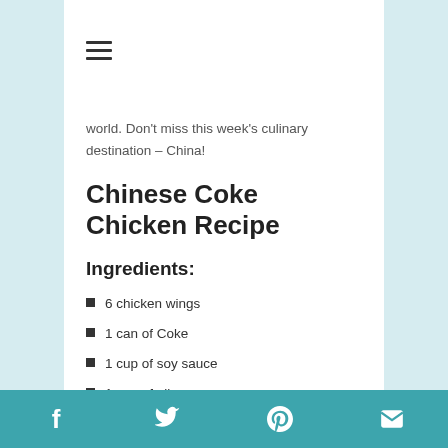☰ (hamburger menu icon)
world. Don't miss this week's culinary destination – China!
Chinese Coke Chicken Recipe
Ingredients:
6 chicken wings
1 can of Coke
1 cup of soy sauce
1 cup of oil
(Optional) Green onion for garnish
Social share icons: Facebook, Twitter, Pinterest, Email